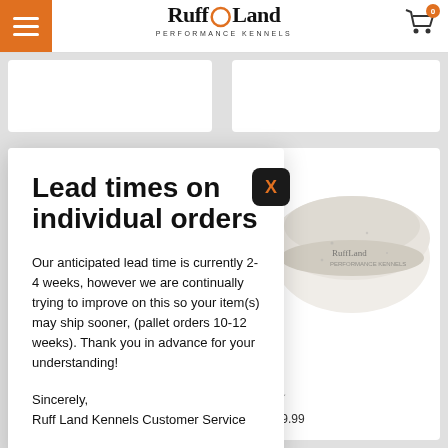RuffLand Performance Kennels
[Figure (screenshot): Website product grid with two product cards visible, showing a rope leash and a ceramic dog bowl]
[Figure (other): Close button X in dark rounded square]
Lead times on individual orders
Our anticipated lead time is currently 2-4 weeks, however we are continually trying to improve on this so your item(s) may ship sooner, (pallet orders 10-12 weeks). Thank you in advance for your understanding!
Sincerely,
Ruff Land Kennels Customer Service
Bowl
★★★
9 – $19.99